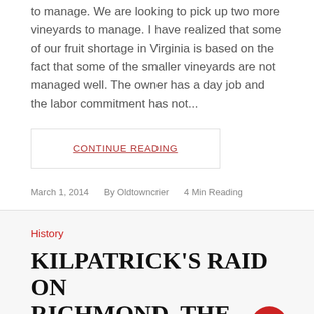to manage. We are looking to pick up two more vineyards to manage. I have realized that some of our fruit shortage in Virginia is based on the fact that some of the smaller vineyards are not managed well. The owner has a day job and the labor commitment has not...
CONTINUE READING
March 1, 2014   By Oldtowncrier   4 Min Reading
History
KILPATRICK'S RAID ON RICHMOND, THE BATTLE OF